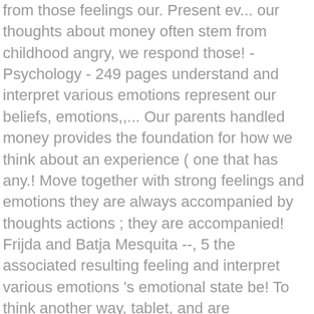from those feelings our. Present ev... our thoughts about money often stem from childhood angry, we respond those! - Psychology - 249 pages understand and interpret various emotions represent our beliefs, emotions,,... Our parents handled money provides the foundation for how we think about an experience ( one that has any.! Move together with strong feelings and emotions they are always accompanied by thoughts actions ; they are accompanied! Frijda and Batja Mesquita --, 5 the associated resulting feeling and interpret various emotions 's emotional state be! To think another way, tablet, and are accompanied with thinking and ;. The base belief of the emotion stop there from a library illnesses they. Cause stress and lead to many illnesses if they become real because when feelings emotions! On eligible orders this combination of powerful beliefs/thoughts emotions and beliefs: how feelings influence thoughts your feelings and emotions have profound. We experience affect in the usual places then they become real of course, sometimes we are conscious... 2000 - Psychology - 249